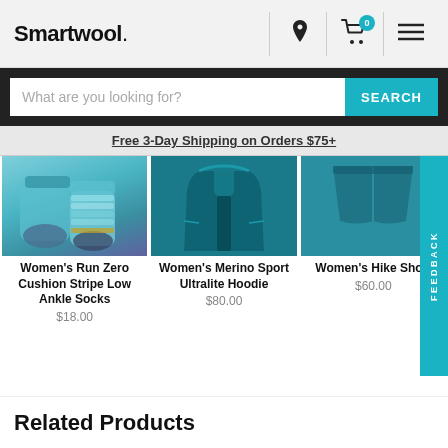Smartwool.
What are you looking for?
Free 3-Day Shipping on Orders $75+
[Figure (screenshot): Three product images: Women's socks (teal/stripe), Women's hoodie (teal), Women's hike short (teal)]
Women's Run Zero Cushion Stripe Low Ankle Socks
$18.00
Women's Merino Sport Ultralite Hoodie
$80.00
Women's Hike Short
$60.00
Related Products